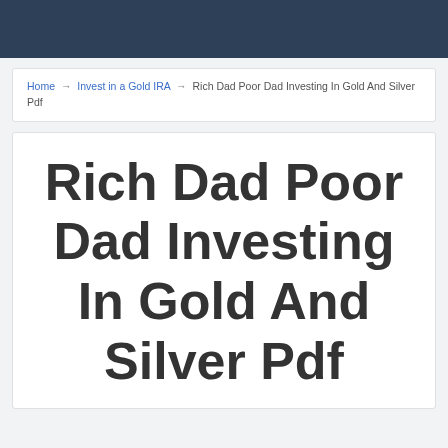Home → Invest in a Gold IRA → Rich Dad Poor Dad Investing In Gold And Silver Pdf
Rich Dad Poor Dad Investing In Gold And Silver Pdf